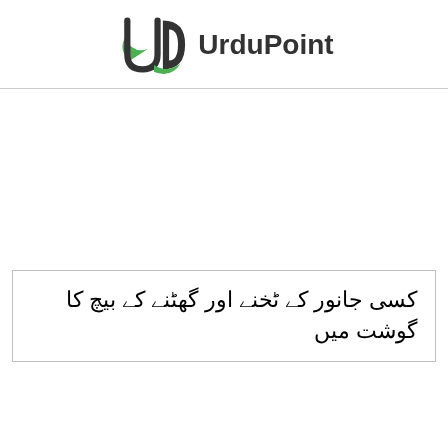UrduPoint
کسی جانور کے ٹخنے اور گھٹنے کے بیچ کا گوشت میں